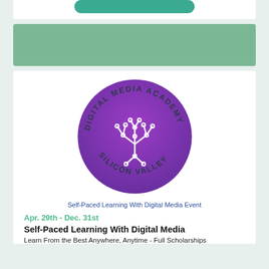[Figure (other): Teal rounded button bar at top of white card]
[Figure (other): Green/teal banner rectangle section]
[Figure (logo): Digital Media Academy Silicon Valley circular logo with purple gradient background and white circuit-tree design]
Self-Paced Learning With Digital Media Event
Apr. 29th - Dec. 31st
Self-Paced Learning With Digital Media
Learn From the Best Anywhere, Anytime - Full Scholarships